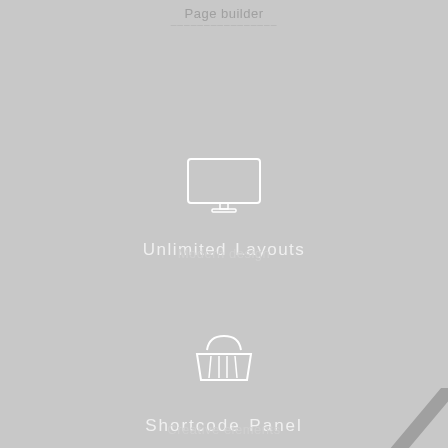Page builder
[Figure (illustration): Monitor/screen icon in white outline style]
Unlimited Layouts
Modern design
[Figure (illustration): Shopping basket icon in white outline style]
Shortcode Panel
Creative elements